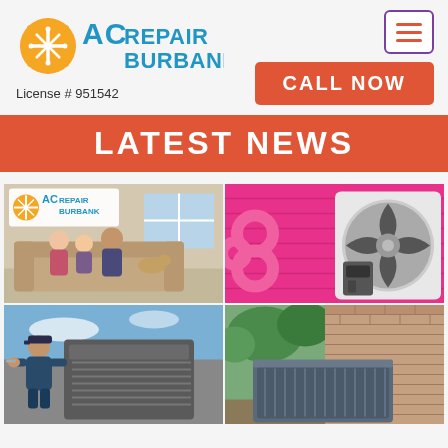[Figure (logo): AC Repair Burbank logo with sun and snowflake icon]
License # 951542
[Figure (other): Hamburger menu button with three horizontal lines]
CALL NOW
LATEST NEWS
[Figure (photo): Collage of four AC-related images: family on couch with AC Repair Burbank logo, pink wall with mini-split outdoor unit, technician working on rooftop AC unit, and outdoor AC condenser unit next to brick wall]